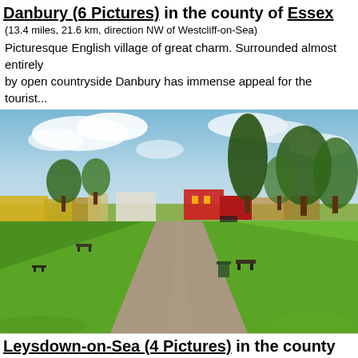Danbury (6 Pictures) in the county of Essex
(13.4 miles, 21.6 km, direction NW of Westcliff-on-Sea)
Picturesque English village of great charm. Surrounded almost entirely by open countryside Danbury has immense appeal for the tourist...
[Figure (photo): Photo of a park with a paved path leading toward commercial buildings in background, green grass on both sides, trees, park benches, and a cloudy blue sky.]
Leysdown-on-Sea (4 Pictures) in the county of Kent